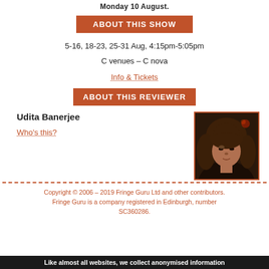Monday 10 August.
ABOUT THIS SHOW
5-16, 18-23, 25-31 Aug, 4:15pm-5:05pm
C venues – C nova
Info & Tickets
ABOUT THIS REVIEWER
Udita Banerjee
Who's this?
[Figure (photo): Portrait photo of reviewer Udita Banerjee, a woman with brown hair, against a dark background.]
Copyright © 2006 – 2019 Fringe Guru Ltd and other contributors. Fringe Guru is a company registered in Edinburgh, number SC360286.
Like almost all websites, we collect anonymised information